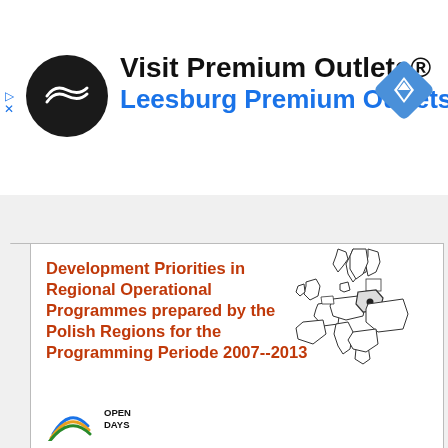[Figure (other): Advertisement banner for 'Visit Premium Outlets® Leesburg Premium Outlets' with a black circular logo with white arrows, blue navigation diamond icon on the right, and blue subtitle link text.]
[Figure (other): Collapse/minimize tab button with an upward caret symbol.]
Development Priorities in Regional Operational Programmes prepared by the Polish Regions for the Programming Periode 2007--2013
[Figure (map): Outline map of Europe with Poland highlighted, shown in upper right of document cover.]
[Figure (logo): Open Days logo with circular colored arc lines (blue, orange, green) and text 'OPEN DAYS'.]